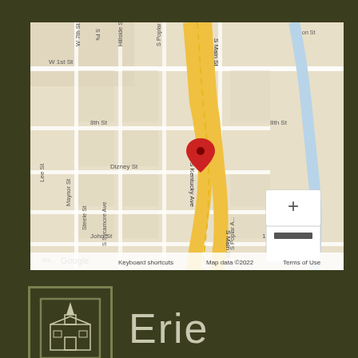[Figure (map): Google Maps showing location pin on S Kentucky Ave near S Main St, with surrounding streets including W 1st St, W 7th St, 8th St, Dizney St, John St, 11th St, S Poplar Ave, Hillside St, Steele St, S Sycamore Ave, Lee St, Maynor St. Map data ©2022. Zoom controls visible. Red location pin marker shown.]
[Figure (logo): Erie Insurance logo - white church/building icon inside a rectangle border on dark olive background, with 'Erie' text in light color to the right]